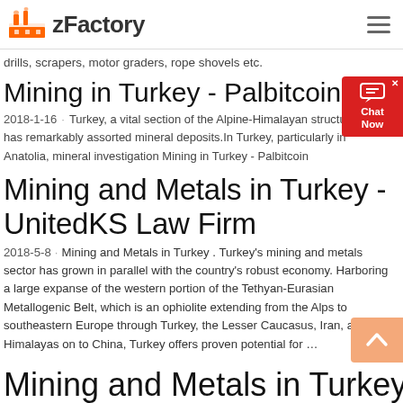zFactory
drills, scrapers, motor graders, rope shovels etc.
Mining in Turkey - Palbitcoin
2018-1-16 · Turkey, a vital section of the Alpine-Himalayan structural has remarkably assorted mineral deposits.In Turkey, particularly in Anatolia, mineral investigation Mining in Turkey - Palbitcoin
Mining and Metals in Turkey - UnitedKS Law Firm
2018-5-8 · Mining and Metals in Turkey . Turkey's mining and metals sector has grown in parallel with the country's robust economy. Harboring a large expanse of the western portion of the Tethyan-Eurasian Metallogenic Belt, which is an ophiolite extending from the Alps to southeastern Europe through Turkey, the Lesser Caucasus, Iran, and the Himalayas on to China, Turkey offers proven potential for ...
Mining and Metals in Turkey I